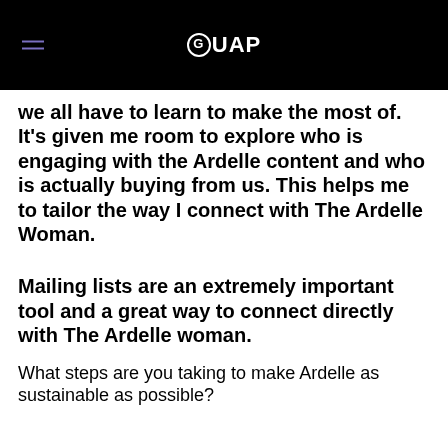GUAP
we all have to learn to make the most of. It’s given me room to explore who is engaging with the Ardelle content and who is actually buying from us. This helps me to tailor the way I connect with The Ardelle Woman.
Mailing lists are an extremely important tool and a great way to connect directly with The Ardelle woman.
What steps are you taking to make Ardelle as sustainable as possible?